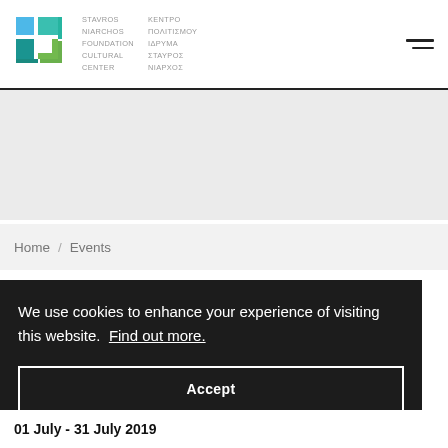[Figure (logo): Stavros Niarchos Foundation Cultural Center logo with colorful geometric cross shape and bilingual text in English and Greek]
We use cookies to enhance your experience of visiting this website. Find out more.
Accept
Home / Events
01 July - 31 July 2019